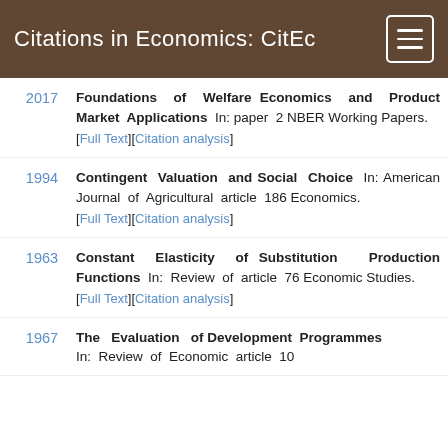Citations in Economics: CitEc
2017 — Foundations of Welfare Economics and Product Market Applications In: paper 2 NBER Working Papers. [Full Text][Citation analysis]
1994 — Contingent Valuation and Social Choice In: American Journal of Agricultural Economics. article 186 [Full Text][Citation analysis]
1963 — Constant Elasticity of Substitution Production Functions In: Review of Economic Studies. article 76 [Full Text][Citation analysis]
1967 — The Evaluation of Development Programmes In: Review of Economic article 10